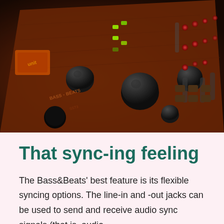[Figure (photo): Close-up photo of a music synthesizer or drum machine controller with black knobs, red and green LED lights, and orange/brown body panel with text markings. The device appears to be a Bass&Beats unit photographed at an angle.]
That sync-ing feeling
The Bass&Beats' best feature is its flexible syncing options. The line-in and -out jacks can be used to send and receive audio sync signals (that is, audio